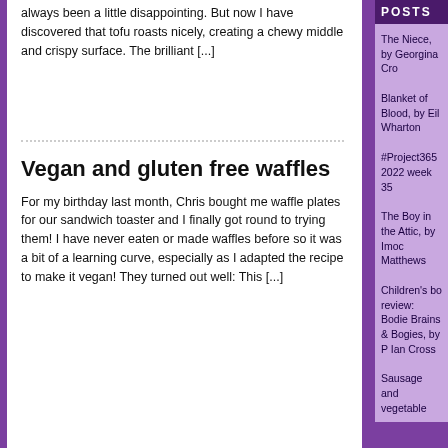always been a little disappointing. But now I have discovered that tofu roasts nicely, creating a chewy middle and crispy surface. The brilliant [...]
Vegan and gluten free waffles
For my birthday last month, Chris bought me waffle plates for our sandwich toaster and I finally got round to trying them! I have never eaten or made waffles before so it was a bit of a learning curve, especially as I adapted the recipe to make it vegan! They turned out well: This [...]
POSTS
The Niece, by Georgina Cro
Blanket of Blood, by Eil Wharton
#Project365 2022 week 35
The Boy in the Attic, by Imoc Matthews
Children's bo review: Bodie Brains & Bogies, by P Ian Cross
Sausage and vegetable